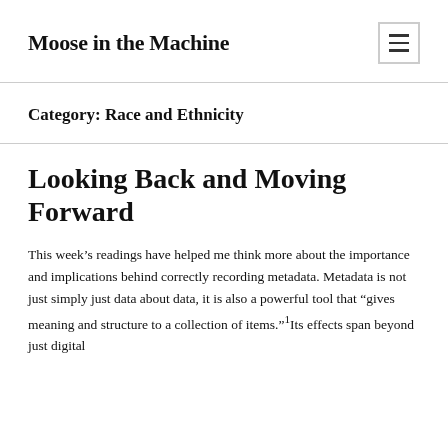Moose in the Machine
Category: Race and Ethnicity
Looking Back and Moving Forward
This week's readings have helped me think more about the importance and implications behind correctly recording metadata. Metadata is not just simply just data about data, it is also a powerful tool that “gives meaning and structure to a collection of items.”¹Its effects span beyond just digital